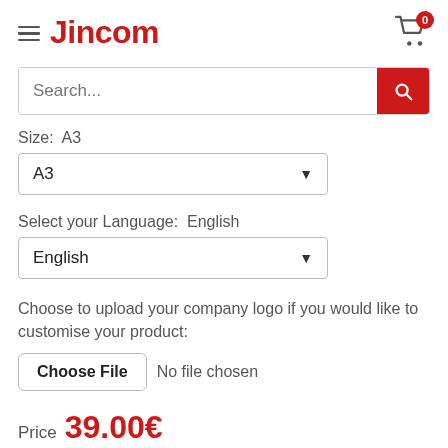Jincom
Search...
Size:  A3
A3
Select your Language:  English
English
Choose to upload your company logo if you would like to customise your product:
Choose File  No file chosen
Price  39.00€